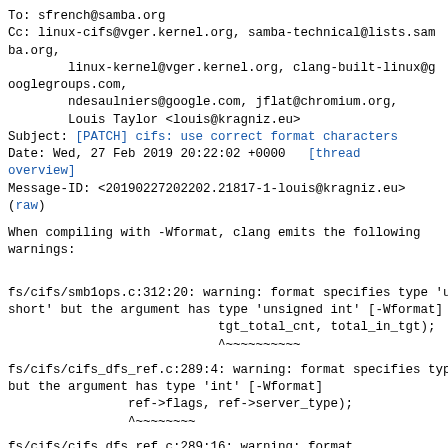To: sfrench@samba.org
Cc: linux-cifs@vger.kernel.org, samba-technical@lists.samba.org,
        linux-kernel@vger.kernel.org, clang-built-linux@googlegroups.com,
        ndesaulniers@google.com, jflat@chromium.org,
        Louis Taylor <louis@kragniz.eu>
Subject: [PATCH] cifs: use correct format characters
Date: Wed, 27 Feb 2019 20:22:02 +0000   [thread overview]
Message-ID: <20190227202202.21817-1-louis@kragniz.eu>
(raw)
When compiling with -Wformat, clang emits the following warnings:
fs/cifs/smb1ops.c:312:20: warning: format specifies type 'unsigned short' but the argument has type 'unsigned int' [-Wformat]
                            tgt_total_cnt, total_in_tgt);
                            ^~~~~~~~~~~
fs/cifs/cifs_dfs_ref.c:289:4: warning: format specifies type 'short'
but the argument has type 'int' [-Wformat]
                ref->flags, ref->server_type);
                ^~~~~~~~~
fs/cifs/cifs_dfs_ref.c:289:16: warning: format